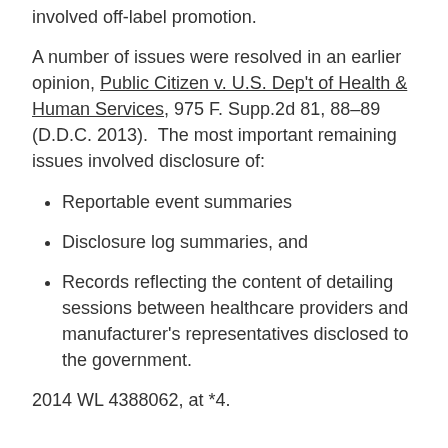involved off-label promotion.
A number of issues were resolved in an earlier opinion, Public Citizen v. U.S. Dep't of Health & Human Services, 975 F. Supp.2d 81, 88–89 (D.D.C. 2013).  The most important remaining issues involved disclosure of:
Reportable event summaries
Disclosure log summaries, and
Records reflecting the content of detailing sessions between healthcare providers and manufacturer's representatives disclosed to the government.
2014 WL 4388062, at *4.